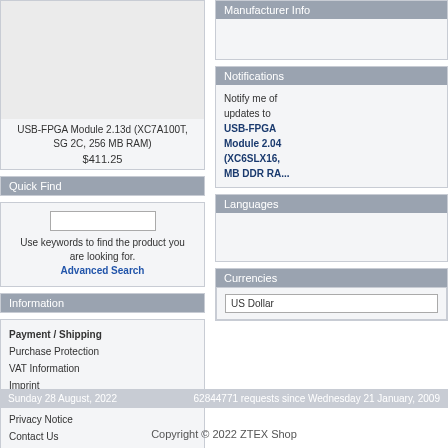[Figure (photo): Product image area for USB-FPGA Module 2.13d (XC7A100T, SG 2C, 256 MB RAM)]
USB-FPGA Module 2.13d (XC7A100T, SG 2C, 256 MB RAM)
$411.25
Quick Find
Use keywords to find the product you are looking for.
Advanced Search
Information
Payment / Shipping
Purchase Protection
VAT Information
Imprint
Conditions of Use
Privacy Notice
Contact Us
RoHS
Manufacturer Info
Notifications
Notify me of updates to USB-FPGA Module 2.04 (XC6SLX16, MB DDR RA...
Languages
Currencies
US Dollar
Sunday 28 August, 2022    62844771 requests since Wednesday 21 January, 2009
Copyright © 2022 ZTEX Shop